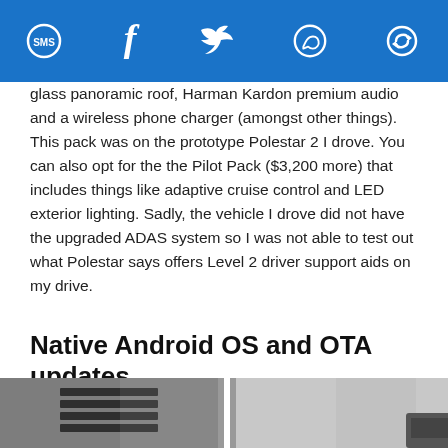Social share icons: SMS, Facebook, Twitter, WhatsApp, Share
glass panoramic roof, Harman Kardon premium audio and a wireless phone charger (amongst other things). This pack was on the prototype Polestar 2 I drove. You can also opt for the the Pilot Pack ($3,200 more) that includes things like adaptive cruise control and LED exterior lighting. Sadly, the vehicle I drove did not have the upgraded ADAS system so I was not able to test out what Polestar says offers Level 2 driver support aids on my drive.
Native Android OS and OTA updates
[Figure (photo): Two side-by-side close-up photos of car interior details in black and white/gray tones]